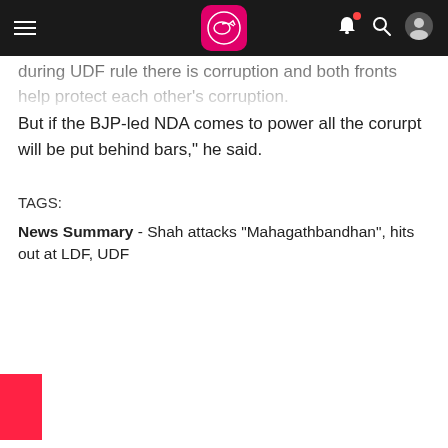App navigation bar with hamburger menu, logo, bell notification, search, and user icons
during UDF rule there is corruption and both fronts help protect each other's corruption.
But if the BJP-led NDA comes to power all the corurpt will be put behind bars," he said.
TAGS:
News Summary - Shah attacks "Mahagathbandhan", hits out at LDF, UDF